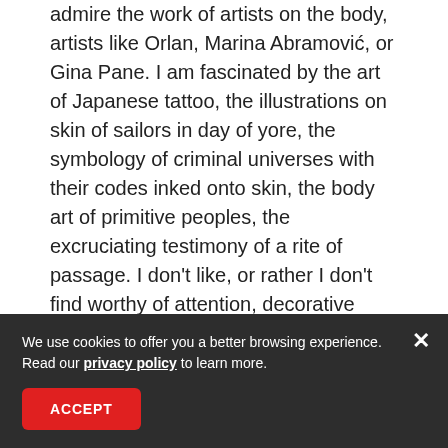admire the work of artists on the body, artists like Orlan, Marina Abramović, or Gina Pane. I am fascinated by the art of Japanese tattoo, the illustrations on skin of sailors in day of yore, the symbology of criminal universes with their codes inked onto skin, the body art of primitive peoples, the excruciating testimony of a rite of passage. I don't like, or rather I don't find worthy of attention, decorative tattoo comprised of swirls and ornament and elements without any meaning whatsoever.
[Figure (photo): Partial photo of a person's head with brown hair, against a light gray background]
We use cookies to offer you a better browsing experience. Read our privacy policy to learn more.
ACCEPT